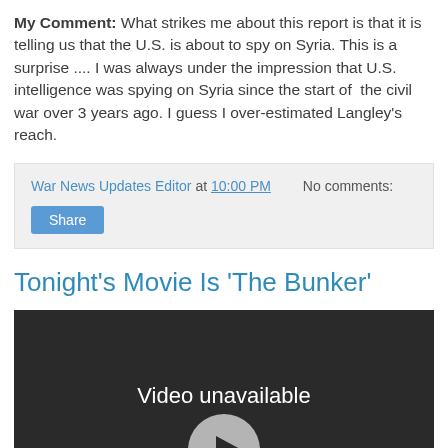My Comment: What strikes me about this report is that it is telling us that the U.S. is about to spy on Syria. This is a surprise .... I was always under the impression that U.S. intelligence was spying on Syria since the start of the civil war over 3 years ago. I guess I over-estimated Langley's reach.
War News Updates Editor at 10:00 PM   No comments:  Share
Tonight's Movie Is 'The Bunker'
[Figure (screenshot): Embedded video player showing 'Video unavailable' message on dark background with YouTube icon partially visible at bottom]